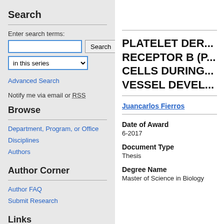Search
Enter search terms:
in this series [dropdown]
Advanced Search
Notify me via email or RSS
Browse
Department, Program, or Office
Disciplines
Authors
Author Corner
Author FAQ
Submit Research
Links
Graduate Studies Website
PLATELET DER... RECEPTOR B (P... CELLS DURING... VESSEL DEVEL...
Juancarlos Fierros
Date of Award
6-2017
Document Type
Thesis
Degree Name
Master of Science in Biology